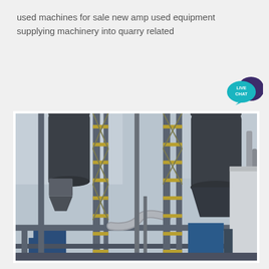used machines for sale new amp used equipment supplying machinery into quarry related
[Figure (illustration): Live Chat button widget with teal speech bubble and dark purple chat bubble icon, labeled LIVE CHAT]
[Figure (photo): Industrial quarry machinery facility showing tall silos, conveyor towers with yellow metal scaffolding, pipes, and heavy equipment structures photographed from ground level against an overcast sky]